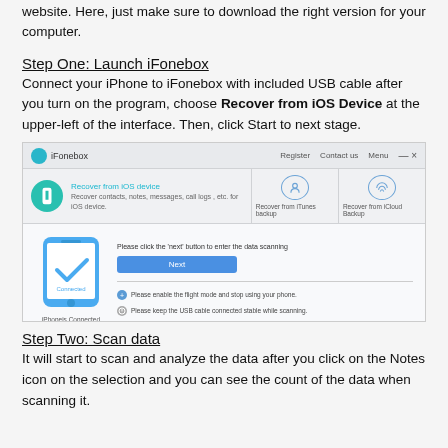website. Here, just make sure to download the right version for your computer.
Step One: Launch iFonebox
Connect your iPhone to iFonebox with included USB cable after you turn on the program, choose Recover from iOS Device at the upper-left of the interface. Then, click Start to next stage.
[Figure (screenshot): Screenshot of iFonebox application showing the Recover from iOS Device option selected, with a connected iPhone graphic and Next button]
Step Two: Scan data
It will start to scan and analyze the data after you click on the Notes icon on the selection and you can see the count of the data when scanning it.